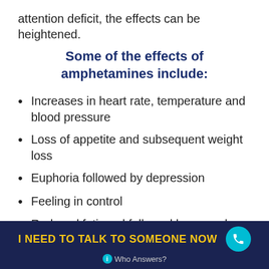attention deficit, the effects can be heightened.
Some of the effects of amphetamines include:
Increases in heart rate, temperature and blood pressure
Loss of appetite and subsequent weight loss
Euphoria followed by depression
Feeling in control
Reduced fatigued followed by a crash and burn instance which includes chronic
I NEED TO TALK TO SOMEONE NOW  Who Answers?